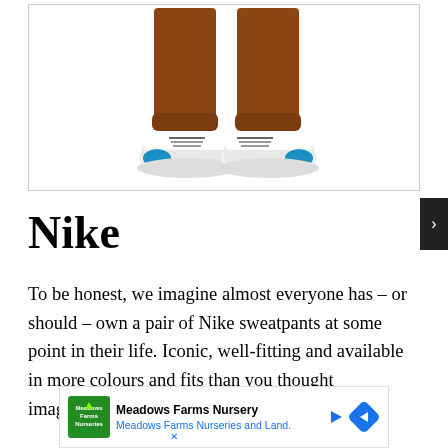[Figure (photo): Lower half of a model wearing rust/orange sweatpants and white Nike sneakers with blue accents, black laces, displayed against a white background with a light gray border.]
Nike
To be honest, we imagine almost everyone has – or should – own a pair of Nike sweatpants at some point in their life. Iconic, well-fitting and available in more colours and fits than you thought imaginable, Nike's [sweatpants have] ential as yo[u]
[Figure (other): Advertisement banner: Meadows Farms Nursery – Meadows Farms Nurseries and Land. Logo on left, blue navigation arrow icon on right.]